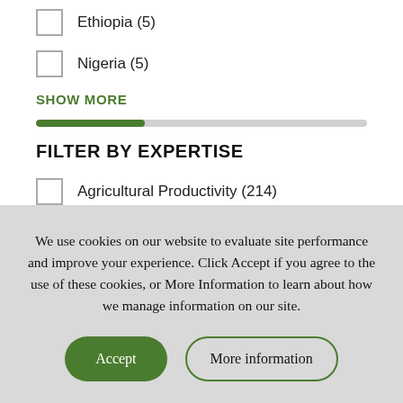Ethiopia (5)
Nigeria (5)
SHOW MORE
FILTER BY EXPERTISE
Agricultural Productivity (214)
Monitoring, Evaluation, and Learning (157)
We use cookies on our website to evaluate site performance and improve your experience. Click Accept if you agree to the use of these cookies, or More Information to learn about how we manage information on our site.